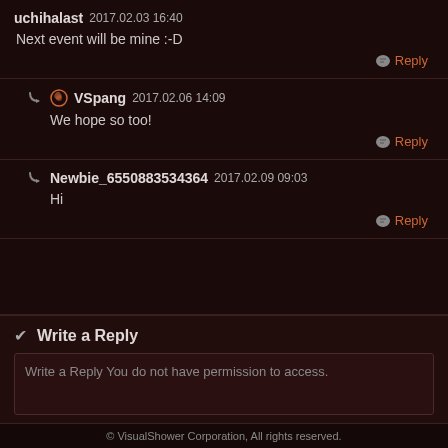uchihalast  2017.02.03 16:40
Next event will be mine :-D
Reply
VSpang  2017.02.06 14:09
We hope so too!
Reply
Newbie_6550883534364  2017.02.09 09:03
Hi
Reply
Write a Reply
Write a Reply You do not have permission to access.
© VisualShower Corporation, All rights reserved.